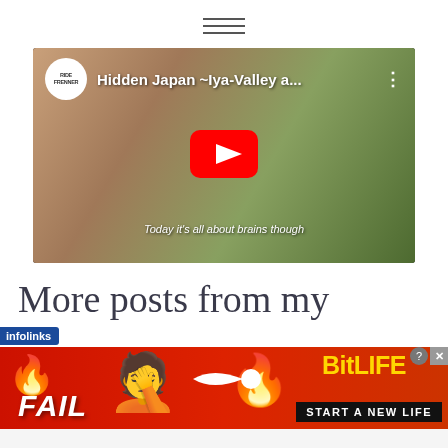[Figure (screenshot): Hamburger/navigation menu icon — three horizontal lines centered at top of page]
[Figure (screenshot): YouTube video embed thumbnail showing 'Hidden Japan ~Iya-Valley a...' with play button, channel logo, and subtitle 'Today it's all about brains though']
More posts from my
[Figure (screenshot): Infolinks advertisement banner for BitLife game showing FAIL text, animated character, flame, BitLife logo, and 'START A NEW LIFE' text with close buttons]